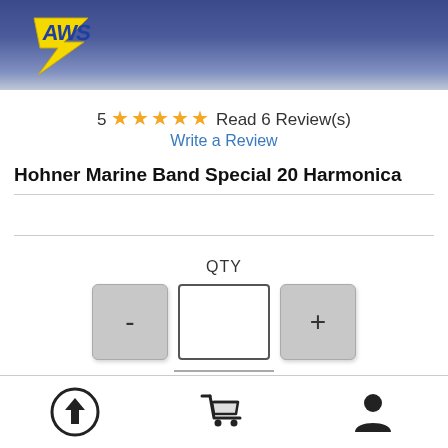[Figure (logo): AWS company logo - yellow and blue lightning bolt style lettering on blue gradient banner header]
5 ★★★★★ Read 6 Review(s)
Write a Review
Hohner Marine Band Special 20 Harmonica
[Figure (infographic): Quantity selector with minus button, input field, and plus button, labeled QTY. Below is a bell/notification icon.]
[Figure (infographic): Bottom navigation bar with three icons: upload/back-to-top arrow in circle, shopping cart, and user/account person icon.]